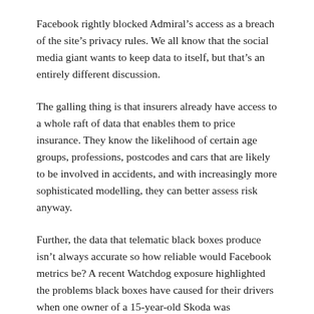Facebook rightly blocked Admiral's access as a breach of the site's privacy rules. We all know that the social media giant wants to keep data to itself, but that's an entirely different discussion.
The galling thing is that insurers already have access to a whole raft of data that enables them to price insurance. They know the likelihood of certain age groups, professions, postcodes and cars that are likely to be involved in accidents, and with increasingly more sophisticated modelling, they can better assess risk anyway.
Further, the data that telematic black boxes produce isn't always accurate so how reliable would Facebook metrics be? A recent Watchdog exposure highlighted the problems black boxes have caused for their drivers when one owner of a 15-year-old Skoda was supposedly doing 125mph despite the car having a top speed of 75mph and